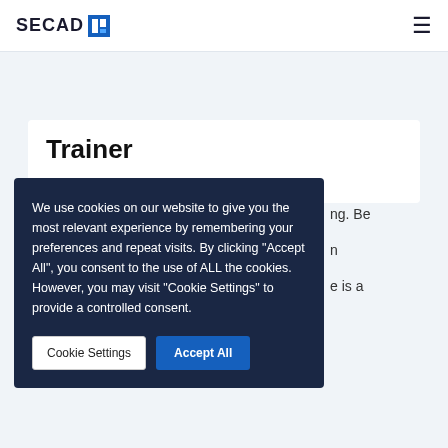SECADE [logo icon] [hamburger menu]
Trainer
ng. Be
n
e is a
We use cookies on our website to give you the most relevant experience by remembering your preferences and repeat visits. By clicking "Accept All", you consent to the use of ALL the cookies. However, you may visit "Cookie Settings" to provide a controlled consent.
Cookie Settings   Accept All